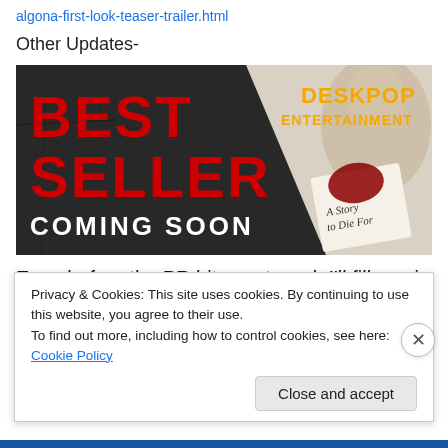algona-first-look-teaser-trailer.html
Other Updates-
[Figure (photo): Movie promotional banner for 'Best Seller' coming soon, with text 'BEST SELLER COMING SOON' in red and white on dark background, 'DESKPOP ENTERTAINMENT' in yellow, a woman's face, and a book with blood reading 'A Story to Die For']
Even before the PR hits next week I'll fill you in on a few
new updates
Privacy & Cookies: This site uses cookies. By continuing to use this website, you agree to their use.
To find out more, including how to control cookies, see here: Cookie Policy
Close and accept